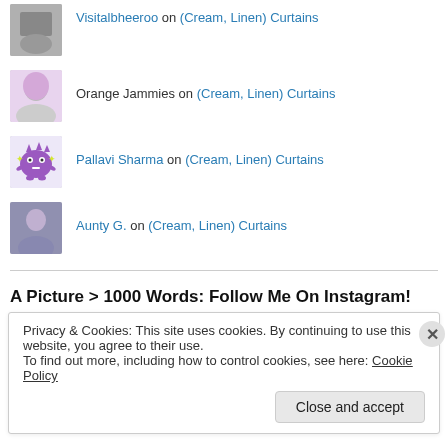Visitalbheeroo on (Cream, Linen) Curtains
Orange Jammies on (Cream, Linen) Curtains
Pallavi Sharma on (Cream, Linen) Curtains
Aunty G. on (Cream, Linen) Curtains
A Picture > 1000 Words: Follow Me On Instagram!
Privacy & Cookies: This site uses cookies. By continuing to use this website, you agree to their use.
To find out more, including how to control cookies, see here: Cookie Policy
Close and accept